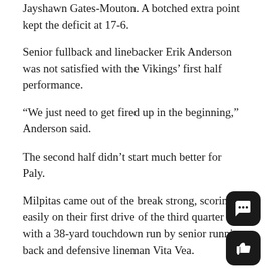Jayshawn Gates-Mouton. A botched extra point kept the deficit at 17-6.
Senior fullback and linebacker Erik Anderson was not satisfied with the Vikings' first half performance.
“We just need to get fired up in the beginning,” Anderson said.
The second half didn’t start much better for Paly.
Milpitas came out of the break strong, scoring easily on their first drive of the third quarter with a 38-yard touchdown run by senior running back and defensive lineman Vita Vea.
The Vikings and Trojans battled throughout the remainder of the third quarter, but both sides remained scoreless until Paly started to mount a comeback in the fourth quarter.
With 10:55 remaining in the game, Chryst threw a 16-yard